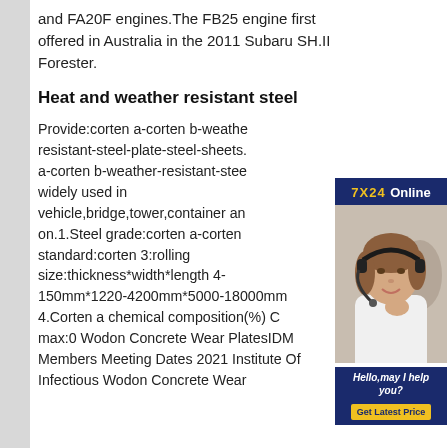and FA20F engines.The FB25 engine first offered in Australia in the 2011 Subaru SH.II Forester.
Heat and weather resistant steel
Provide:corten a-corten b-weather-resistant-steel-plate-steel-sheets. a-corten b-weather-resistant-steel widely used in vehicle,bridge,tower,container and on.1.Steel grade:corten a-corten standard:corten 3:rolling size:thickness*width*length 4-150mm*1220-4200mm*5000-18000mm 4.Corten a chemical composition(%) C max:0 Wodon Concrete Wear PlatesIDM Members Meeting Dates 2021 Institute Of Infectious Wodon Concrete Wear
[Figure (photo): Advertisement panel with a woman wearing a headset, 7X24 Online header, Hello may I help you? text, and Get Latest Price button]